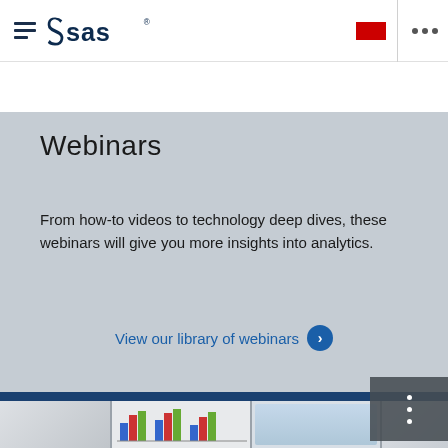[Figure (screenshot): SAS website top navigation bar with hamburger menu icon, SAS logo, red button, vertical divider, and three-dot menu]
SAS® Academic Programs
Webinars
From how-to videos to technology deep dives, these webinars will give you more insights into analytics.
View our library of webinars
[Figure (screenshot): Thumbnail images of webinar slides including bar charts and maps]